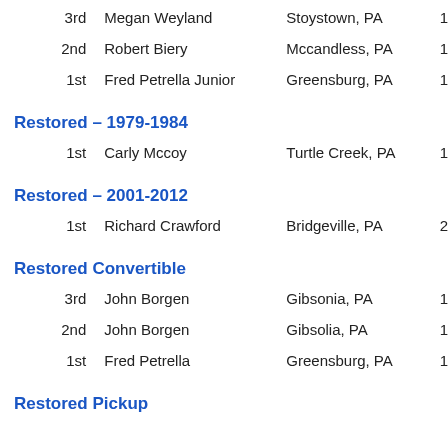3rd  Megan Weyland  Stoystown, PA  1
2nd  Robert Biery  Mccandless, PA  1
1st  Fred Petrella Junior  Greensburg, PA  1
Restored – 1979-1984
1st  Carly Mccoy  Turtle Creek, PA  1
Restored – 2001-2012
1st  Richard Crawford  Bridgeville, PA  2
Restored Convertible
3rd  John Borgen  Gibsonia, PA  1
2nd  John Borgen  Gibsolia, PA  1
1st  Fred Petrella  Greensburg, PA  1
Restored Pickup